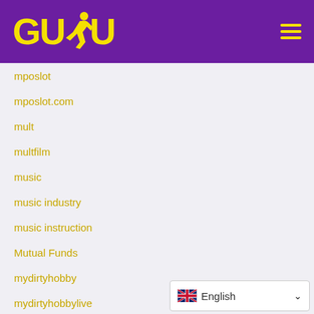[Figure (logo): GUDU logo with running figure in yellow on purple background, with hamburger menu icon on right]
mposlot
mposlot.com
mult
multfilm
music
music industry
music instruction
Mutual Funds
mydirtyhobby
mydirtyhobbylive
NACATOTO
nama situs judi online
[Figure (other): Language selector showing English with UK flag]